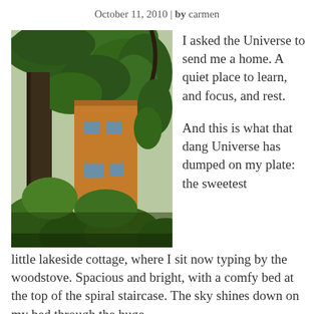October 11, 2010 | by carmen
[Figure (photo): Photograph taken looking up at tall conifer trees with hanging branches, alongside a wooden building (cottage) with windows, green foliage in the lower foreground, bright sky visible through the canopy.]
I asked the Universe to send me a home. A quiet place to learn, and focus, and rest.

And this is what that dang Universe has dumped on my plate: the sweetest little lakeside cottage, where I sit now typing by the woodstove. Spacious and bright, with a comfy bed at the top of the spiral staircase. The sky shines down on my bed through the huge